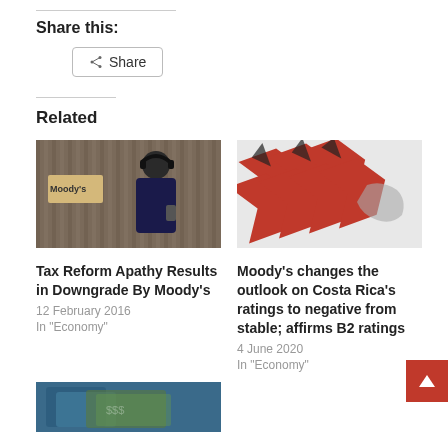Share this:
Share
Related
[Figure (photo): Person with headphones near a Moody's sign on a corrugated metal wall]
Tax Reform Apathy Results in Downgrade By Moody's
12 February 2016
In "Economy"
[Figure (photo): Red arrow shapes on a white surface with a grey Costa Rica map cutout]
Moody's changes the outlook on Costa Rica's ratings to negative from stable; affirms B2 ratings
4 June 2020
In "Economy"
[Figure (photo): Partial image of financial documents or money, partially visible at bottom]